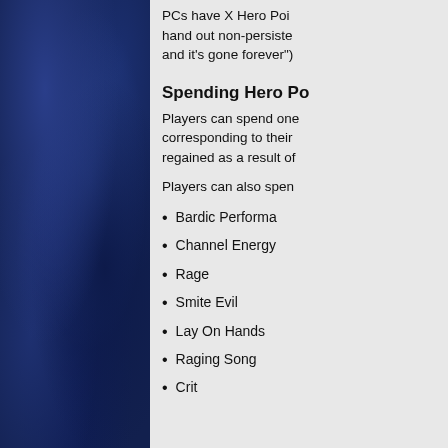[Figure (illustration): Dark blue watercolor/marble texture background filling the left panel of the page]
PCs have X Hero Points hand out non-persistent and it's gone forever")
Spending Hero Po
Players can spend one corresponding to their regained as a result of
Players can also spen
Bardic Performa
Channel Energy
Rage
Smite Evil
Lay On Hands
Raging Song
Crit